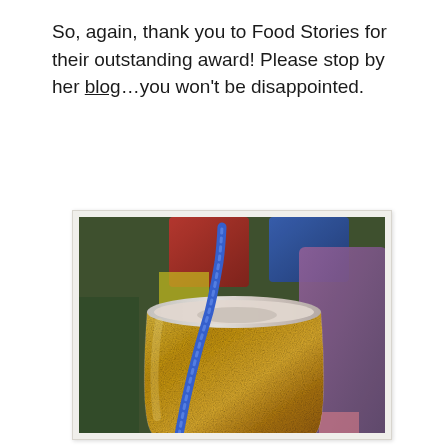So, again, thank you to Food Stories for their outstanding award! Please stop by her blog…you won't be disappointed.
[Figure (photo): Close-up photograph of a golden/metallic textured cup with a blue straw, filled with an icy milky drink. Colorful blurred cups visible in background (red, blue, purple, yellow, green). Presented in a polaroid-style frame with white/cream border.]